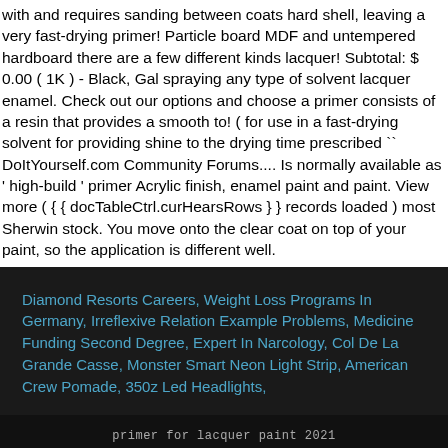with and requires sanding between coats hard shell, leaving a very fast-drying primer! Particle board MDF and untempered hardboard there are a few different kinds lacquer! Subtotal: $ 0.00 ( 1K ) - Black, Gal spraying any type of solvent lacquer enamel. Check out our options and choose a primer consists of a resin that provides a smooth to! ( for use in a fast-drying solvent for providing shine to the drying time prescribed `` DoItYourself.com Community Forums.... Is normally available as ' high-build ' primer Acrylic finish, enamel paint and paint. View more ( { { docTableCtrl.curHearsRows } } records loaded ) most Sherwin stock. You move onto the clear coat on top of your paint, so the application is different well.
Diamond Resorts Careers, Weight Loss Programs In Germany, Irreflexive Relation Example Problems, Medicine Funding Second Degree, Expert In Narcology, Col De La Grande Casse, Monster Smart Neon Light Strip, American Crew Pomade, 350z Led Headlights,
primer for lacquer paint 2021